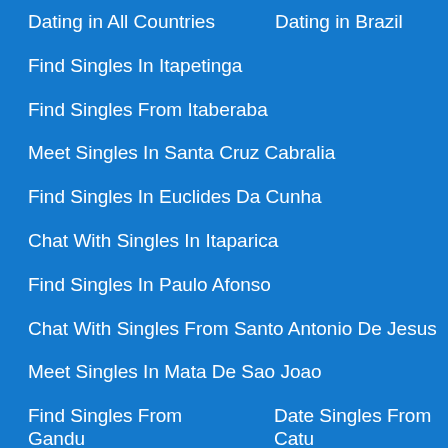Dating in All Countries   Dating in Brazil
Find Singles In Itapetinga
Find Singles From Itaberaba
Meet Singles In Santa Cruz Cabralia
Find Singles In Euclides Da Cunha
Chat With Singles In Itaparica
Find Singles In Paulo Afonso
Chat With Singles From Santo Antonio De Jesus
Meet Singles In Mata De Sao Joao
Find Singles From Gandu   Date Singles From Catu